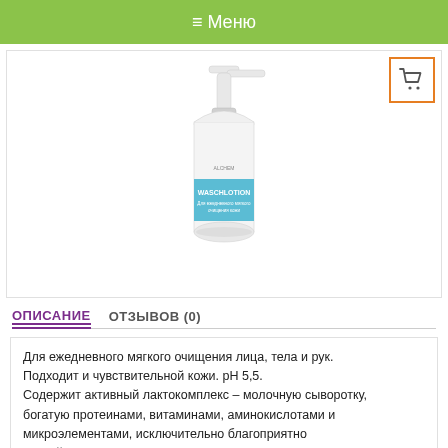≡ Меню
[Figure (photo): A white pump dispenser bottle of Waschlotion lotion product with a teal/blue label]
ОПИСАНИЕ   ОТЗЫВОВ (0)
Для ежедневного мягкого очищения лица, тела и рук. Подходит и чувствительной кожи. pH 5,5. Содержит активный лактокомплекс – молочную сыворотку, богатую протеинами, витаминами, аминокислотами и микроэлементами, исключительно благоприятно воздействующую на кожу.